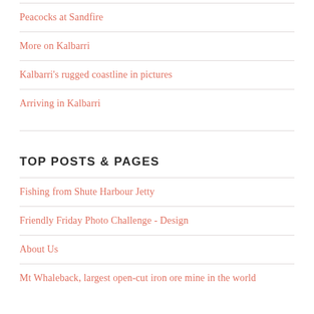Peacocks at Sandfire
More on Kalbarri
Kalbarri's rugged coastline in pictures
Arriving in Kalbarri
TOP POSTS & PAGES
Fishing from Shute Harbour Jetty
Friendly Friday Photo Challenge - Design
About Us
Mt Whaleback, largest open-cut iron ore mine in the world